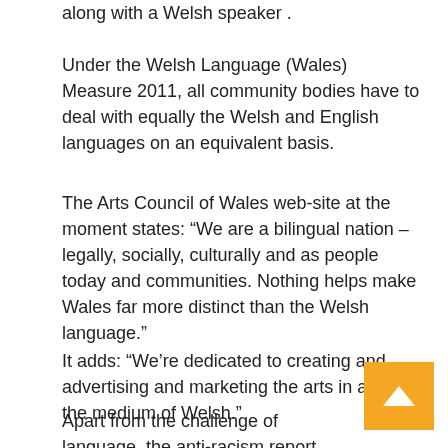along with a Welsh speaker .
Under the Welsh Language (Wales) Measure 2011, all community bodies have to deal with equally the Welsh and English languages on an equivalent basis.
The Arts Council of Wales web-site at the moment states: “We are a bilingual nation – legally, socially, culturally and as people today and communities. Nothing helps make Wales far more distinct than the Welsh language.”
It adds: “We’re dedicated to creating and advertising and marketing the arts in and by the medium of Welsh.”
Apart from the challenge of language, the anti-racism report even more mentioned: “The continual exclusion and disregard for black and